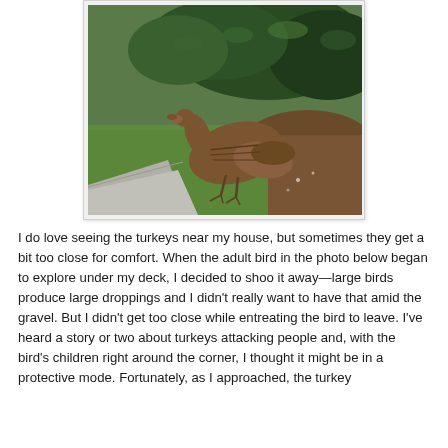[Figure (photo): A wild turkey foraging near a garden bed with green shrubs and grass. The turkey is brown and walking near a concrete path. The photo has a light gray border/frame.]
I do love seeing the turkeys near my house, but sometimes they get a bit too close for comfort. When the adult bird in the photo below began to explore under my deck, I decided to shoo it away—large birds produce large droppings and I didn't really want to have that amid the gravel. But I didn't get too close while entreating the bird to leave. I've heard a story or two about turkeys attacking people and, with the bird's children right around the corner, I thought it might be in a protective mode. Fortunately, as I approached, the turkey